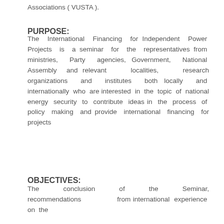Associations ( VUSTA ).
PURPOSE:
The International Financing for Independent Power Projects is a seminar for the representatives from ministries, Party agencies, Government, National Assembly and relevant localities, research organizations and institutes both locally and internationally who are interested in the topic of national energy security to contribute ideas in the process of policy making and provide international financing for projects
OBJECTIVES:
The conclusion of the Seminar, recommendations from international experience on the